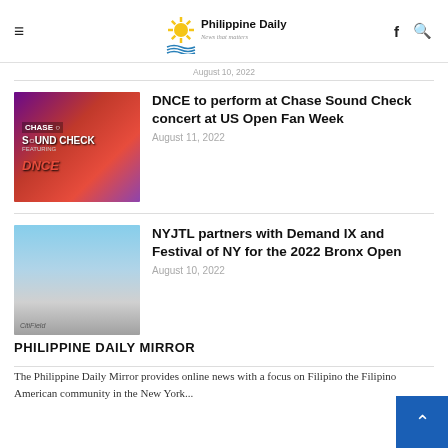Philippine Daily Mirror — News that matters
August 10, 2022
DNCE to perform at Chase Sound Check concert at US Open Fan Week
August 11, 2022
NYJTL partners with Demand IX and Festival of NY for the 2022 Bronx Open
August 10, 2022
PHILIPPINE DAILY MIRROR
The Philippine Daily Mirror provides online news with a focus on Filipino the Filipino American community in the New York...